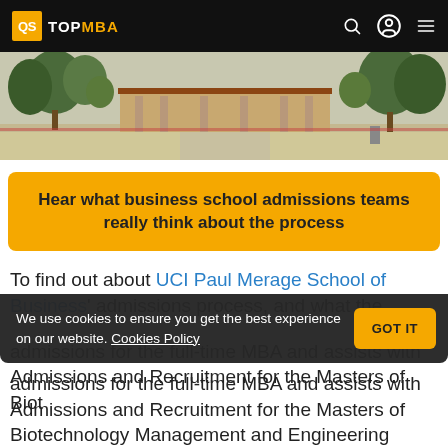QS TOPMBA
[Figure (photo): Campus photo showing a university building with trees and an open plaza area]
Hear what business school admissions teams really think about the process
To find out about UCI Paul Merage School of Business' admissions process, and what the
We use cookies to ensure you get the best experience on our website. Cookies Policy  GOT IT
admissions for the full-time MBA and assists with Admissions and Recruitment for the Masters of Biotechnology Management and Engineering